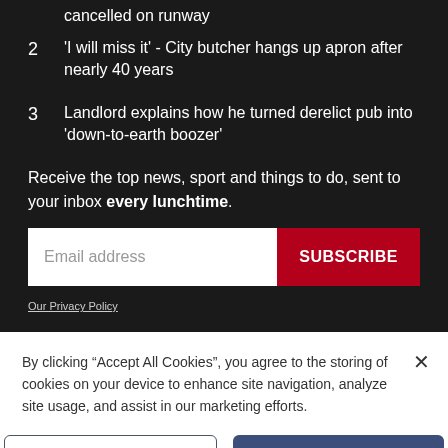cancelled on runway
2  'I will miss it' - City butcher hangs up apron after nearly 40 years
3  Landlord explains how he turned derelict pub into 'down-to-earth boozer'
Receive the top news, sport and things to do, sent to your inbox every lunchtime.
Email address
SUBSCRIBE
Our Privacy Policy
By clicking "Accept All Cookies", you agree to the storing of cookies on your device to enhance site navigation, analyze site usage, and assist in our marketing efforts.
Cookies Settings
Accept All Cookies